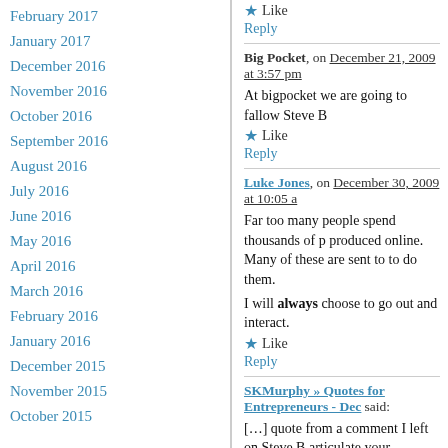February 2017
January 2017
December 2016
November 2016
October 2016
September 2016
August 2016
July 2016
June 2016
May 2016
April 2016
March 2016
February 2016
January 2016
December 2015
November 2015
October 2015
★ Like
Reply
[comment by Big Pocket, on December 21, 2009 at 3:57 pm]
At bigpocket we are going to fallow Steve B...
★ Like
Reply
[comment by Luke Jones, on December 30, 2009 at 10:05 a...]
Far too many people spend thousands of p... produced online. Many of these are sent to ... to do them.
I will always choose to go out and interact.
★ Like
Reply
SKMurphy » Quotes for Entrepreneurs - Dec... said:
[...] quote from a comment I left on Steve B... articulate your hypotheses about the syste...